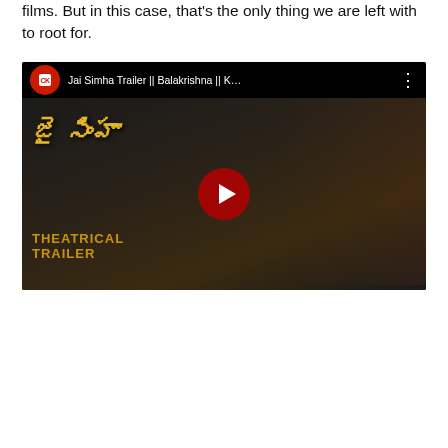films. But in this case, that's the only thing we are left with to root for.
[Figure (screenshot): YouTube video thumbnail for 'Jai Simha Trailer || Balakrishna || K...' showing a Telugu film theatrical trailer thumbnail with the title in Telugu script and 'THEATRICAL TRAILER' in gold text, with a YouTube play button overlay.]